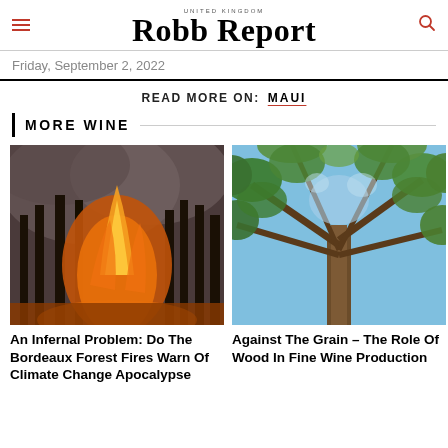UNITED KINGDOM Robb Report
Friday, September 2, 2022
READ MORE ON: MAUI
MORE WINE
[Figure (photo): Forest fire with tall trees engulfed in orange flames against a smoky dark sky]
An Infernal Problem: Do The Bordeaux Forest Fires Warn Of Climate Change Apocalypse
[Figure (photo): Looking up through a forest canopy of tall trees with green leaves against a blue sky]
Against The Grain – The Role Of Wood In Fine Wine Production